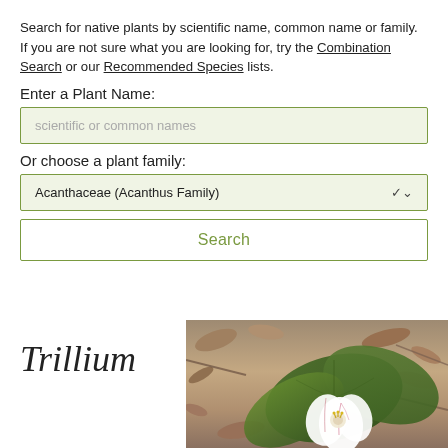Search for native plants by scientific name, common name or family. If you are not sure what you are looking for, try the Combination Search or our Recommended Species lists.
Enter a Plant Name:
scientific or common names
Or choose a plant family:
Acanthaceae (Acanthus Family)
Search
Trillium
[Figure (photo): Close-up photo of a Trillium flower with white petals marked with pink/purple veins, surrounded by large green leaves, resting on a bed of brown leaf litter and mulch.]